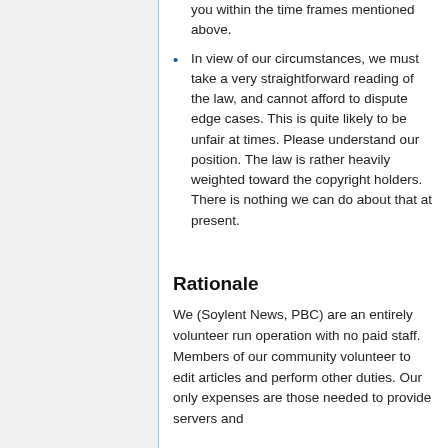you within the time frames mentioned above.
In view of our circumstances, we must take a very straightforward reading of the law, and cannot afford to dispute edge cases. This is quite likely to be unfair at times. Please understand our position. The law is rather heavily weighted toward the copyright holders. There is nothing we can do about that at present.
Rationale
We (Soylent News, PBC) are an entirely volunteer run operation with no paid staff. Members of our community volunteer to edit articles and perform other duties. Our only expenses are those needed to provide servers and